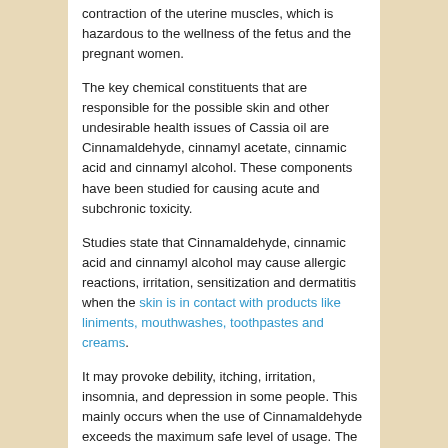contraction of the uterine muscles, which is hazardous to the wellness of the fetus and the pregnant women.
The key chemical constituents that are responsible for the possible skin and other undesirable health issues of Cassia oil are Cinnamaldehyde, cinnamyl acetate, cinnamic acid and cinnamyl alcohol. These components have been studied for causing acute and subchronic toxicity.
Studies state that Cinnamaldehyde, cinnamic acid and cinnamyl alcohol may cause allergic reactions, irritation, sensitization and dermatitis when the skin is in contact with products like liniments, mouthwashes, toothpastes and creams.
It may provoke debility, itching, irritation, insomnia, and depression in some people. This mainly occurs when the use of Cinnamaldehyde exceeds the maximum safe level of usage. The highest recommended level by the International Fragrance Association (IFRA) for